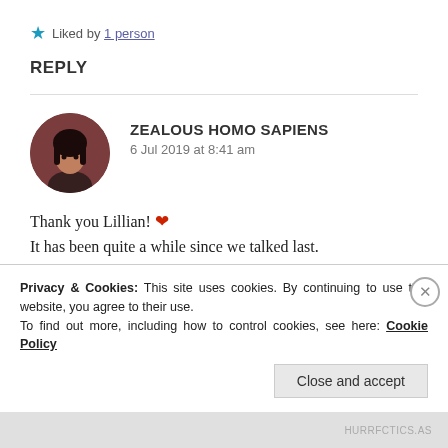★ Liked by 1 person
REPLY
[Figure (photo): Circular avatar of a person with dark hair against a dark reddish-brown background]
ZEALOUS HOMO SAPIENS
6 Jul 2019 at 8:41 am
Thank you Lillian! ❤
It has been quite a while since we talked last.
How have you been doing?
Privacy & Cookies: This site uses cookies. By continuing to use this website, you agree to their use.
To find out more, including how to control cookies, see here: Cookie Policy
Close and accept